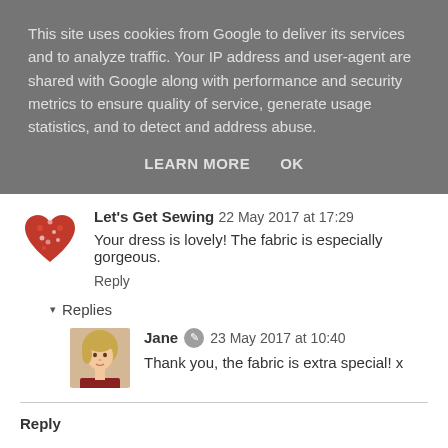This site uses cookies from Google to deliver its services and to analyze traffic. Your IP address and user-agent are shared with Google along with performance and security metrics to ensure quality of service, generate usage statistics, and to detect and address abuse.
LEARN MORE    OK
Let's Get Sewing  22 May 2017 at 17:29
Your dress is lovely! The fabric is especially gorgeous.
Reply
▾ Replies
Jane  23 May 2017 at 10:40
Thank you, the fabric is extra special! x
Reply